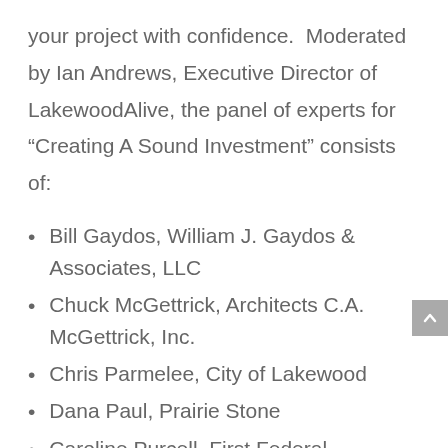your project with confidence.  Moderated by Ian Andrews, Executive Director of LakewoodAlive, the panel of experts for “Creating A Sound Investment” consists of:
Bill Gaydos, William J. Gaydos & Associates, LLC
Chuck McGettrick, Architects C.A. McGettrick, Inc.
Chris Parmelee, City of Lakewood
Dana Paul, Prairie Stone
Caroline Purcell, First Federal Lakewood
Mike Quinn, Cleveland Lumber